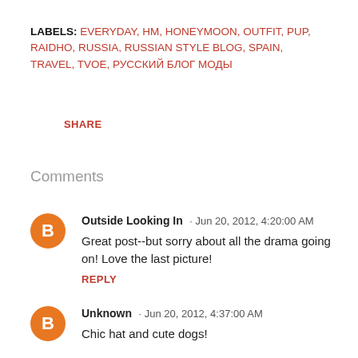LABELS: EVERYDAY, HM, HONEYMOON, OUTFIT, PUP, RAIDHO, RUSSIA, RUSSIAN STYLE BLOG, SPAIN, TRAVEL, TVOE, РУССКИЙ БЛОГ МОДЫ
SHARE
Comments
Outside Looking In · Jun 20, 2012, 4:20:00 AM
Great post--but sorry about all the drama going on! Love the last picture!
REPLY
Unknown · Jun 20, 2012, 4:37:00 AM
Chic hat and cute dogs!